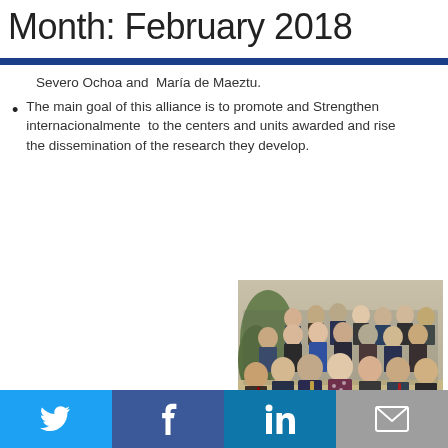Month: February 2018
Severo Ochoa and  María de Maeztu.
The main goal of this alliance is to promote and Strengthen internacionalmente  to the centers and units awarded and rise the dissemination of the research they develop.
[Figure (photo): Group photo of approximately 40-50 people posing together indoors, multiple rows, formal and semi-formal attire]
Twitter | Facebook | LinkedIn | Email share buttons